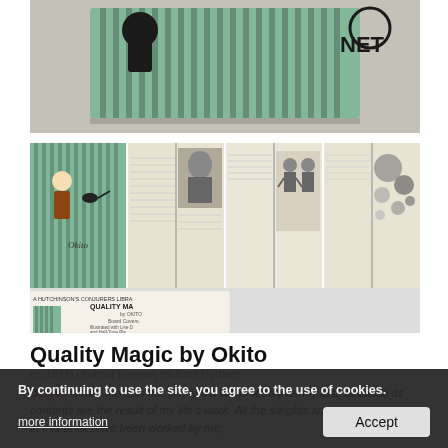[Figure (photo): Top photo showing the spine/top edge of a green hardcover book with black decorative design, on a light background. Text 'NET' visible.]
[Figure (photo): Gallery row of four images: (1) green teal book cover with Japanese-style illustration labeled 'A HUTCHINSON'S CONJURERS LIBRARY'; (2) open book spread showing text and a portrait photograph; (3) open book spread with illustrations of figures/people; (4) open book spread with circular diagram illustrations. Below the gallery is a catalog/advertisement card showing 'QUALITY MA...' title, '5/6', 'Postage 4d.' and other publishing details.]
Quality Magic by Okito
(c. 1921) (Submit Review) (Submit Update)
Details: From the ... is m...gic, and it will probably be my last, because its contents are the result of my life's work. All the sleights and tricks explained in this book have been worked by me;
By continuing to use the site, you agree to the use of cookies.
more information
Accept